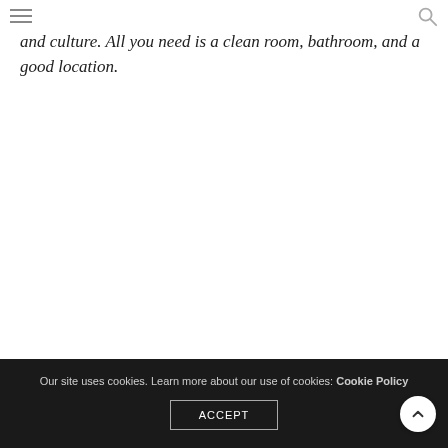navigation menu and search icon
and culture. All you need is a clean room, bathroom, and a good location.
Our site uses cookies. Learn more about our use of cookies: Cookie Policy ACCEPT